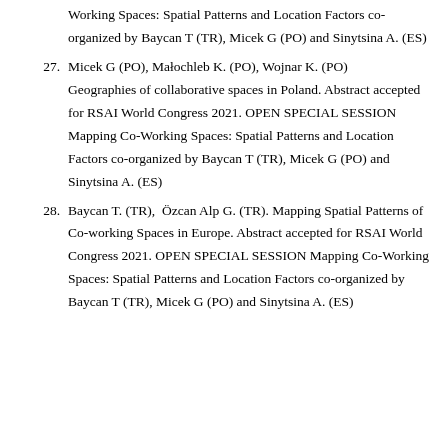Working Spaces: Spatial Patterns and Location Factors co-organized by Baycan T (TR), Micek G (PO) and Sinytsina A. (ES)
27. Micek G (PO), Małochleb K. (PO), Wojnar K. (PO) Geographies of collaborative spaces in Poland. Abstract accepted for RSAI World Congress 2021. OPEN SPECIAL SESSION Mapping Co-Working Spaces: Spatial Patterns and Location Factors co-organized by Baycan T (TR), Micek G (PO) and Sinytsina A. (ES)
28. Baycan T. (TR), Özcan Alp G. (TR). Mapping Spatial Patterns of Co-working Spaces in Europe. Abstract accepted for RSAI World Congress 2021. OPEN SPECIAL SESSION Mapping Co-Working Spaces: Spatial Patterns and Location Factors co-organized by Baycan T (TR), Micek G (PO) and Sinytsina A. (ES)